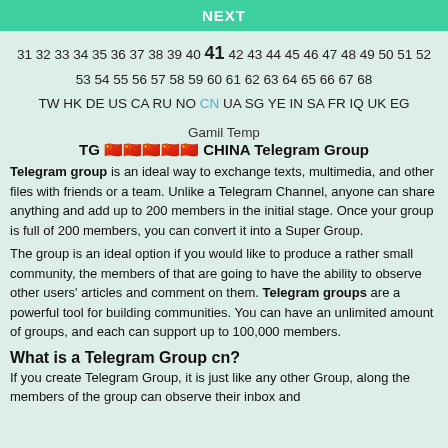NEXT
31 32 33 34 35 36 37 38 39 40 41 42 43 44 45 46 47 48 49 50 51 52 53 54 55 56 57 58 59 60 61 62 63 64 65 66 67 68
TW HK DE US CA RU NO CN UA SG YE IN SA FR IQ UK EG
Gamil Temp
TG 🇨🇳🇨🇳🇨🇳🇨🇳🇨🇳 CHINA Telegram Group
Telegram group is an ideal way to exchange texts, multimedia, and other files with friends or a team. Unlike a Telegram Channel, anyone can share anything and add up to 200 members in the initial stage. Once your group is full of 200 members, you can convert it into a Super Group.
The group is an ideal option if you would like to produce a rather small community, the members of that are going to have the ability to observe other users' articles and comment on them. Telegram groups are a powerful tool for building communities. You can have an unlimited amount of groups, and each can support up to 100,000 members.
What is a Telegram Group cn?
If you create Telegram Group, it is just like any other Group, along the members of the group can observe their inbox and